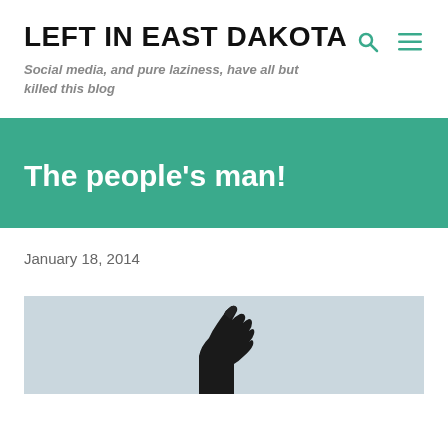LEFT IN EAST DAKOTA
Social media, and pure laziness, have all but killed this blog
The people's man!
January 18, 2014
[Figure (photo): Dark bronze statue hand pointing upward against a light grey sky, cropped close showing only the arm and hand]